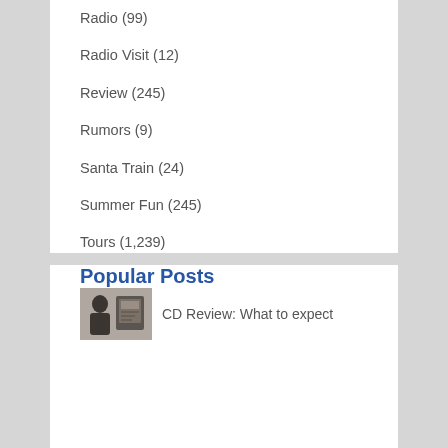Radio (99)
Radio Visit (12)
Review (245)
Rumors (9)
Santa Train (24)
Summer Fun (245)
Tours (1,239)
TV Appearance (911)
TV / Web TV Appearance (30)
Uncategorized (350)
Videos (823)
Where are they Now? (9)
WXBQ (91)
Popular Posts
CD Review: What to expect